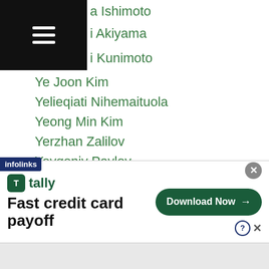a Ishimoto
i Akiyama
i Kunimoto
Ye Joon Kim
Yelieqiati Nihemaituola
Yeong Min Kim
Yerzhan Zalilov
Yevgeniy Pavlov
Yi Hung Chiang
Yodmongkol Vor Saengthep
Yodtanong Chaepet
Yo Han Bae
Yohei Tobe
Yoji Saito
Yoko Gushiken
Yokthongkokietgym
ng Kokietgym
[Figure (screenshot): Tally app advertisement banner: 'Fast credit card payoff' with Download Now button]